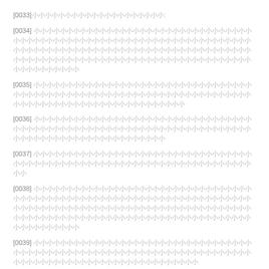[0033] [redacted text]:
[0034] [redacted text - three lines]
[0035] [redacted text - two lines]
[0036] [redacted text - two lines]
[0037] [redacted text - two lines]
[0038] [redacted text - three lines]
[0039] [redacted text - two lines]
[0040] [redacted text - three lines]